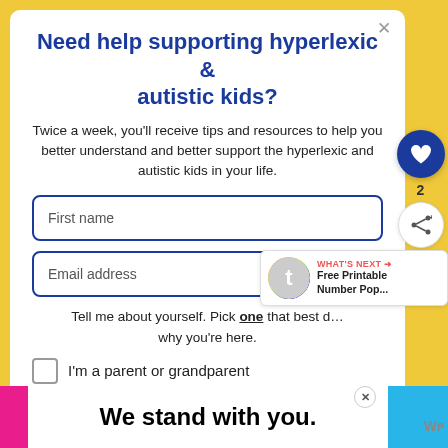Need help supporting hyperlexic & autistic kids?
Twice a week, you'll receive tips and resources to help you better understand and better support the hyperlexic and autistic kids in your life.
First name
Email address
Tell me about yourself. Pick one that best describes why you're here.
I'm a parent or grandparent
[Figure (screenshot): Bottom advertisement banner reading 'We stand with you.' with pink, white, and blue sections and a close button]
[Figure (infographic): What's next promo box with rainbow icon and text 'Free Printable Number Pop...']